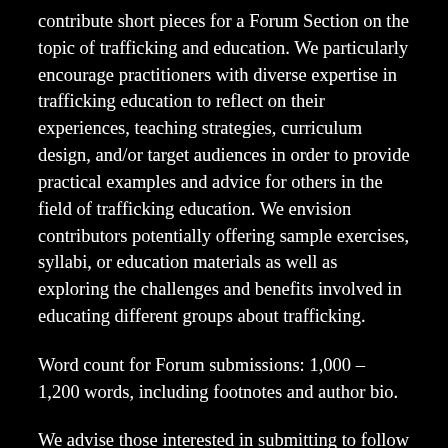contribute short pieces for a Forum Section on the topic of trafficking and education. We particularly encourage practitioners with diverse expertise in trafficking education to reflect on their experiences, teaching strategies, curriculum design, and/or target audiences in order to provide practical examples and advice for others in the field of trafficking education. We envision contributors potentially offering sample exercises, syllabi, or education materials as well as exploring the challenges and benefits involved in educating different groups about trafficking.
Word count for Forum submissions: 1,000 – 1,200 words, including footnotes and author bio.
We advise those interested in submitting to follow the Review's style guide and submission procedures, available at http://www.antitraffickingreview.org/